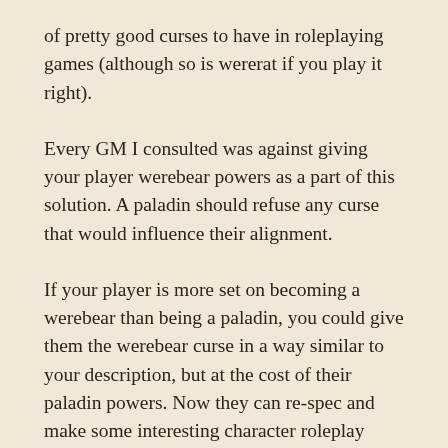of pretty good curses to have in roleplaying games (although so is wererat if you play it right).
Every GM I consulted was against giving your player werebear powers as a part of this solution. A paladin should refuse any curse that would influence their alignment.
If your player is more set on becoming a werebear than being a paladin, you could give them the werebear curse in a way similar to your description, but at the cost of their paladin powers. Now they can re-spec and make some interesting character roleplay choices. Just make sure it doesn’t eat into the fun of lifting